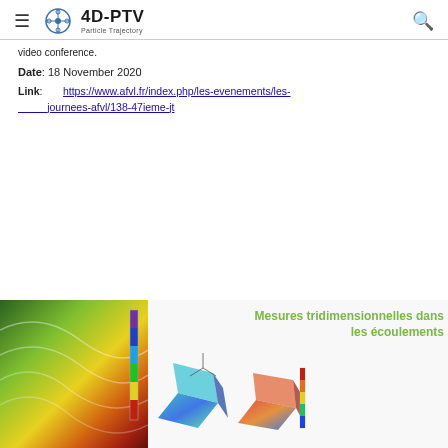4D-PTV Particle Trajectory
video conference.
Date: 18 November 2020
Link:      https://www.afvl.fr/index.php/les-evenements/les-journees-afvl/138-47ieme-jt
[Figure (photo): Scientific fluid flow visualization images showing 3D measurements in flows (Mesures tridimensionnelles dans les écoulements), with colorful vector field on left and 3D surface plots on right]
Mesures tridimensionnelles dans les écoulements